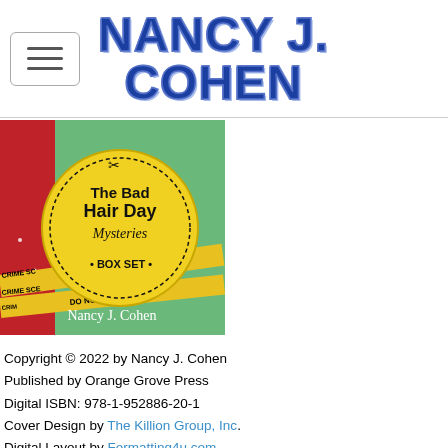Nancy J. Cohen
[Figure (illustration): Book cover for 'The Bad Hair Day Mysteries Box Set' by Nancy J. Cohen. Features a woman in red dress against a green background with crime scene tape. Yellow circular badge reads 'The Bad Hair Day Mysteries Box Set'.]
Copyright © 2022 by Nancy J. Cohen
Published by Orange Grove Press
Digital ISBN: 978-1-952886-20-1
Cover Design by The Killion Group, Inc.
Digital Layout by Formatting4u.com